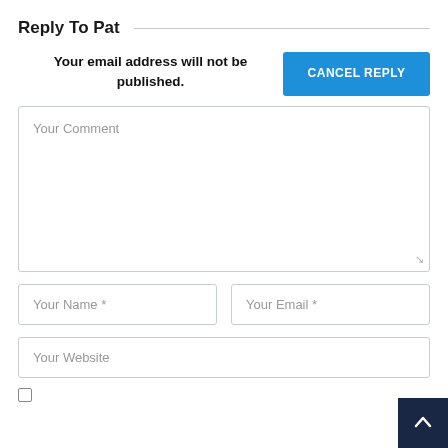Reply To Pat
Your email address will not be published.
CANCEL REPLY
Your Comment
Your Name *
Your Email *
Your Website